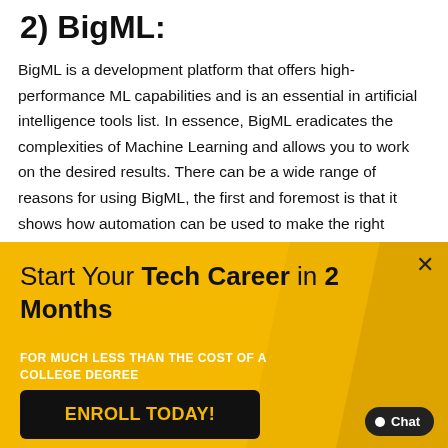2) BigML:
BigML is a development platform that offers high-performance ML capabilities and is an essential in artificial intelligence tools list. In essence, BigML eradicates the complexities of Machine Learning and allows you to work on the desired results. There can be a wide range of reasons for using BigML, the first and foremost is that it shows how automation can be used to make the right decisions. Secondly.it is programmable
[Figure (infographic): Yellow promotional banner for a tech career program. Text reads: 'Start Your Tech Career in 2 Months' with subtitle 'FOR MUCH LESS THAN THE COST OF A COLLEGE DEGREE' and a black button labeled 'ENROLL TODAY!'. A close button (×) is in the top right and a Chat button in the bottom right.]